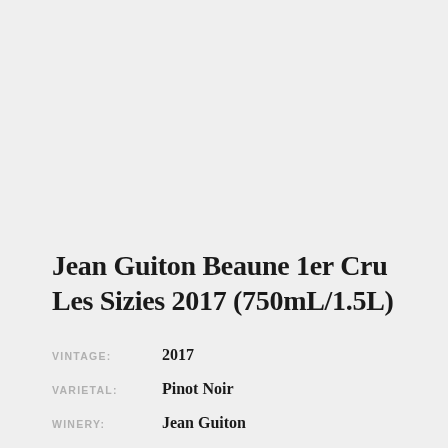Jean Guiton Beaune 1er Cru Les Sizies 2017 (750mL/1.5L)
VINTAGE: 2017
VARIETAL: Pinot Noir
WINERY: Jean Guiton